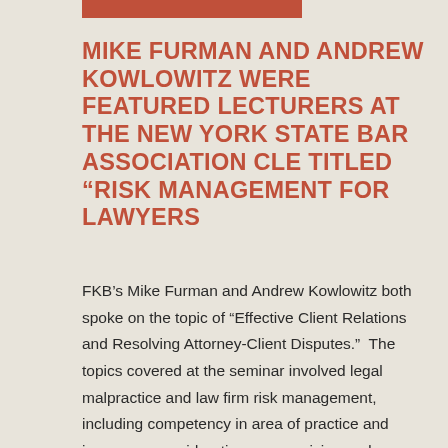MIKE FURMAN AND ANDREW KOWLOWITZ WERE FEATURED LECTURERS AT THE NEW YORK STATE BAR ASSOCIATION CLE TITLED “RISK MANAGEMENT FOR LAWYERS
FKB’s Mike Furman and Andrew Kowlowitz both spoke on the topic of “Effective Client Relations and Resolving Attorney-Client Disputes.”  The topics covered at the seminar involved legal malpractice and law firm risk management, including competency in area of practice and insurance considerations, recognizing and handling conflicts of interest –